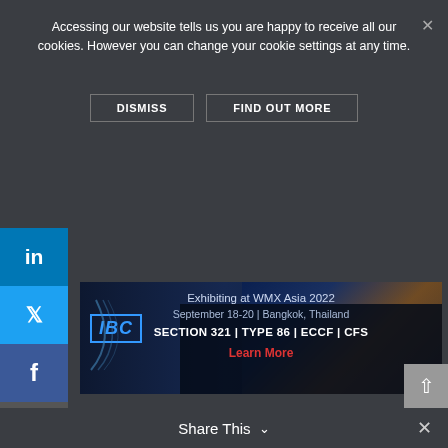Accessing our website tells us you are happy to receive all our cookies. However you can change your cookie settings at any time.
DISMISS   FIND OUT MORE
[Figure (screenshot): IBC advertisement banner: Exhibiting at WMX Asia 2022, September 18-20 | Bangkok, Thailand, SECTION 321 | TYPE 86 | ECCF | CFS, Learn More]
Menu
Advertisement
[Figure (screenshot): World Mail & Express Asia Conference logo/banner with dark blue and red background with large W logo mark]
Share This